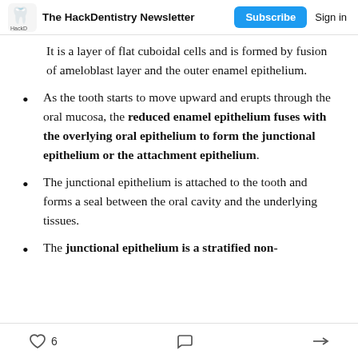The HackDentistry Newsletter  Subscribe  Sign in
It is a layer of flat cuboidal cells and is formed by fusion of ameloblast layer and the outer enamel epithelium.
As the tooth starts to move upward and erupts through the oral mucosa, the reduced enamel epithelium fuses with the overlying oral epithelium to form the junctional epithelium or the attachment epithelium.
The junctional epithelium is attached to the tooth and forms a seal between the oral cavity and the underlying tissues.
The junctional epithelium is a stratified non-
6